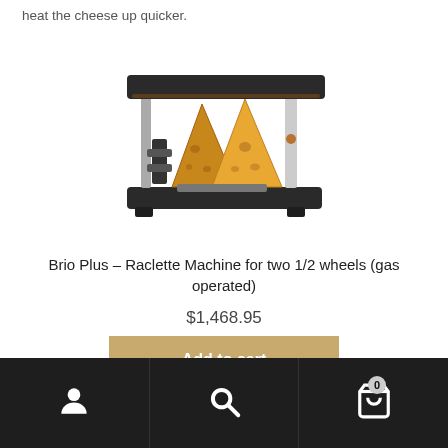heat the cheese up quicker.
[Figure (photo): Brio Plus Raclette Machine for two 1/2 wheels (gas operated) — a tabletop appliance with a dark horizontal heating element on top supported by a white metal frame, with two wedges of cheese underneath, and a black base plate.]
Brio Plus – Raclette Machine for two 1/2 wheels (gas operated)
$1,468.95
Add to cart
Navigation bar with account, search, and cart (0) icons